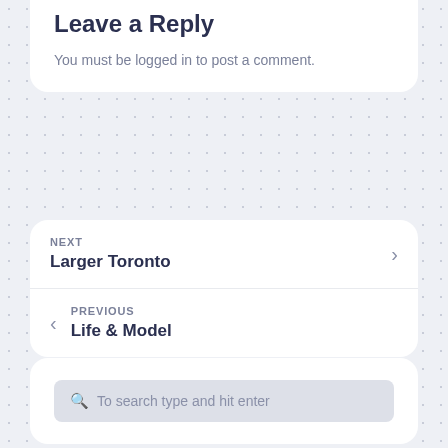Leave a Reply
You must be logged in to post a comment.
NEXT
Larger Toronto
PREVIOUS
Life & Model
To search type and hit enter